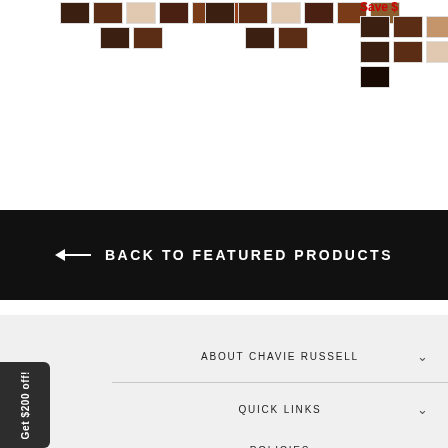[Figure (screenshot): Hair color swatch selectors for three products. Left group shows two rows of swatches (dark brown, medium brown, light/blonde tones, black, chocolate). Center group shows similar swatch rows. Right group shows swatches with a red 'Save $...' label visible.]
← BACK TO FEATURED PRODUCTS
ABOUT CHAVIE RUSSELL
QUICK LINKS
POLICIES
Get $200 off!